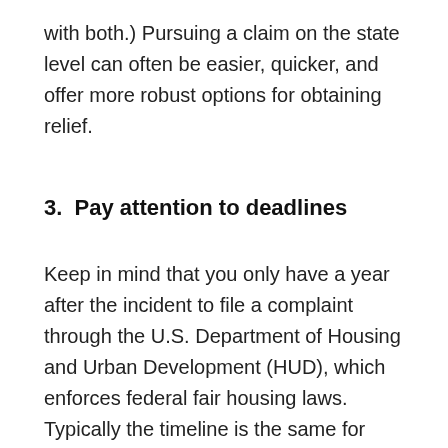with both.) Pursuing a claim on the state level can often be easier, quicker, and offer more robust options for obtaining relief.
3. Pay attention to deadlines
Keep in mind that you only have a year after the incident to file a complaint through the U.S. Department of Housing and Urban Development (HUD), which enforces federal fair housing laws. Typically the timeline is the same for state-level agencies, as well. The department recommends filing as soon as possible, however.
4. Gather your supporting evide…